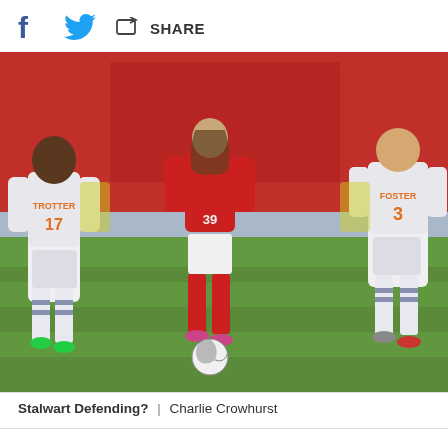[Figure (screenshot): Social share toolbar with Facebook, Twitter icons and SHARE button]
[Figure (photo): Football match scene: a player in red Charlton Athletic kit (number 39) dribbling with the ball on a grass pitch, flanked by two defenders in white Bolton Wanderers kits (number 17 TROTTER on left, number 3 FOSTER on right). Red stadium seats visible in background.]
Stalwart Defending?  |  Charlie Crowhurst